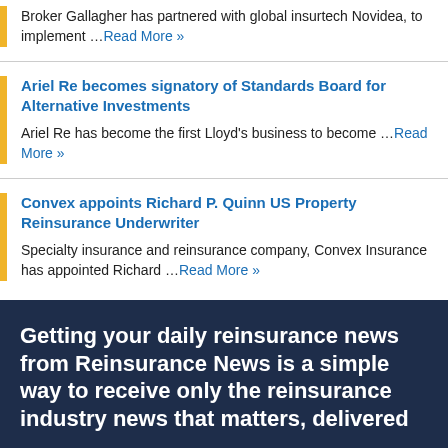Broker Gallagher has partnered with global insurtech Novidea, to implement …Read More »
Ariel Re becomes signatory of Standards Board for Alternative Investments
Ariel Re has become the first Lloyd's business to become …Read More »
Convex appoints Richard P. Quinn US Property Reinsurance Underwriter
Specialty insurance and reinsurance company, Convex Insurance has appointed Richard …Read More »
Getting your daily reinsurance news from Reinsurance News is a simple way to receive only the reinsurance industry news that matters, delivered…